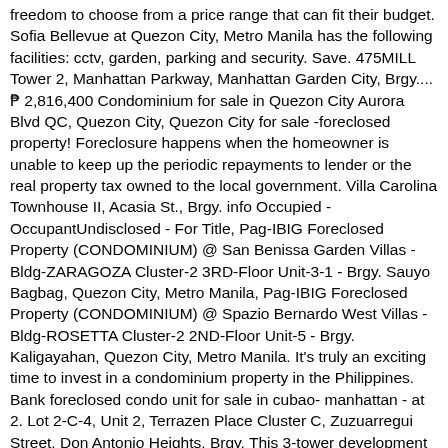freedom to choose from a price range that can fit their budget. Sofia Bellevue at Quezon City, Metro Manila has the following facilities: cctv, garden, parking and security. Save. 475MILL Tower 2, Manhattan Parkway, Manhattan Garden City, Brgy.... ₱ 2,816,400 Condominium for sale in Quezon City Aurora Blvd QC, Quezon City, Quezon City for sale -foreclosed property! Foreclosure happens when the homeowner is unable to keep up the periodic repayments to lender or the real property tax owned to the local government. Villa Carolina Townhouse II, Acasia St., Brgy. info Occupied - OccupantUndisclosed - For Title, Pag-IBIG Foreclosed Property (CONDOMINIUM) @ San Benissa Garden Villas - Bldg-ZARAGOZA Cluster-2 3RD-Floor Unit-3-1 - Brgy. Sauyo Bagbag, Quezon City, Metro Manila, Pag-IBIG Foreclosed Property (CONDOMINIUM) @ Spazio Bernardo West Villas - Bldg-ROSETTA Cluster-2 2ND-Floor Unit-5 - Brgy. Kaligayahan, Quezon City, Metro Manila. It's truly an exciting time to invest in a condominium property in the Philippines. Bank foreclosed condo unit for sale in cubao- manhattan - at 2. Lot 2-C-4, Unit 2, Terrazen Place Cluster C, Zuzuarregui Street, Don Antonio Heights, Brgy. This 3-tower development is located right along EDSA, where you can easily hop onto the MRT or take a bus. But cheaper doesn't mean that these properties lack in comfort and amenities. More affordable condominiums can be found in cities like Parañaque and Muntinlupa. See on the map. Kaligayahan, Quezon City, Metro Manila. Quezon City, Metro Manila - For Sale - Condominium -